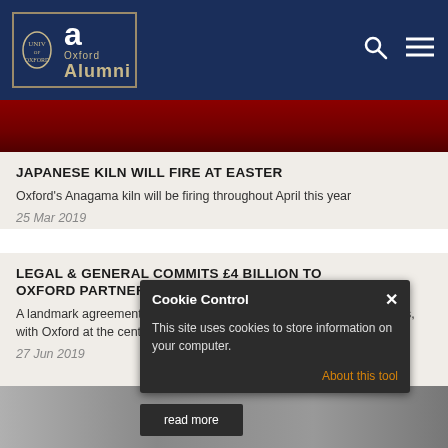University of Oxford Alumni
[Figure (photo): Dark red/maroon background image strip]
JAPANESE KILN WILL FIRE AT EASTER
Oxford's Anagama kiln will be firing throughout April this year
25 Mar 2019
LEGAL & GENERAL COMMITS £4 BILLION TO OXFORD PARTNERSHIP
A landmark agreement creates a blueprint for world-leading future cities, with Oxford at the centre
27 Jun 2019
Cookie Control
This site uses cookies to store information on your computer.
About this tool
[Figure (photo): Partial grey/silver image strip at the bottom]